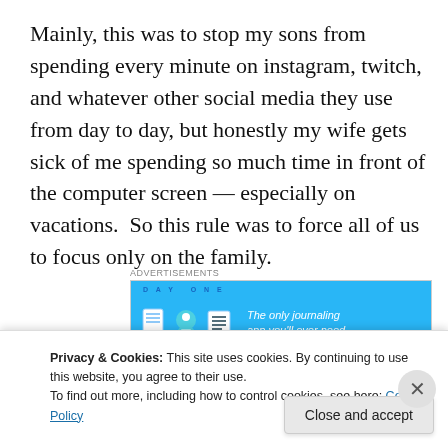Mainly, this was to stop my sons from spending every minute on instagram, twitch, and whatever other social media they use from day to day, but honestly my wife gets sick of me spending so much time in front of the computer screen — especially on vacations.  So this rule was to force all of us to focus only on the family.
[Figure (infographic): Advertisement banner for Day One journaling app with blue background, showing app icons and tagline 'The only journaling app you'll ever need.']
I have to admit I had withdrawals from social media and
Privacy & Cookies: This site uses cookies. By continuing to use this website, you agree to their use.
To find out more, including how to control cookies, see here: Cookie Policy